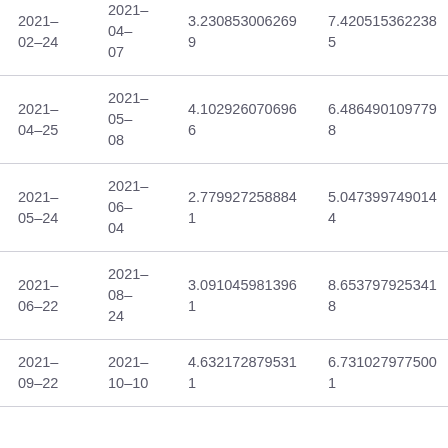| 2021-
02-24 | 2021-
04-
07 | 3.2308530062699 | 7.4205153622385 |
| 2021-
04-25 | 2021-
05-
08 | 4.1029260706966 | 6.4864901097798 |
| 2021-
05-24 | 2021-
06-
04 | 2.7799272588841 | 5.0473997490144 |
| 2021-
06-22 | 2021-
08-
24 | 3.0910459813961 | 8.6537979253418 |
| 2021-
09-22 | 2021-
10-10 | 4.632172879531 1 | 6.7310279775001 |